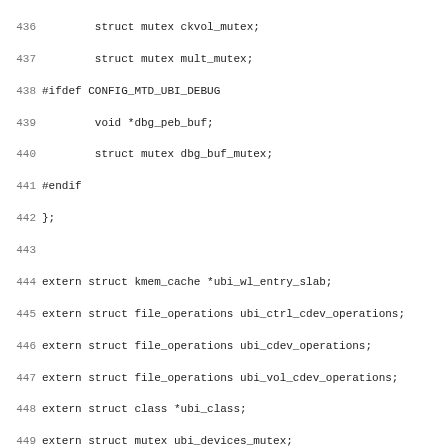Source code listing lines 436-467, C header file with struct definitions and extern declarations for UBI (Unsorted Block Images) Linux kernel subsystem.